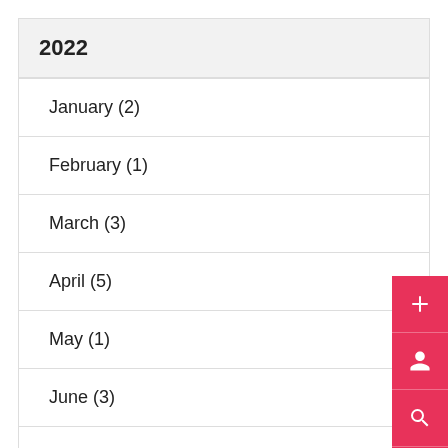2022
January (2)
February (1)
March (3)
April (5)
May (1)
June (3)
July (1)
August (1)